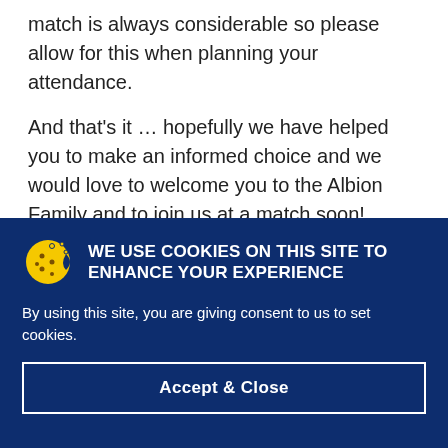match is always considerable so please allow for this when planning your attendance.
And that’s it … hopefully we have helped you to make an informed choice and we would love to welcome you to the Albion Family and to join us at a match soon!
WE USE COOKIES ON THIS SITE TO ENHANCE YOUR EXPERIENCE
By using this site, you are giving consent to us to set cookies.
Accept & Close